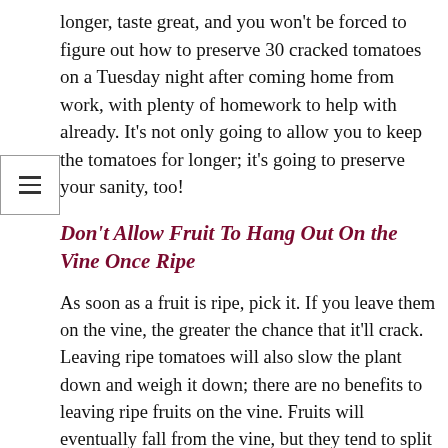longer, taste great, and you won’t be forced to figure out how to preserve 30 cracked tomatoes on a Tuesday night after coming home from work, with plenty of homework to help with already. It’s not only going to allow you to keep the tomatoes for longer; it’s going to preserve your sanity, too!
Don’t Allow Fruit To Hang Out On the Vine Once Ripe
As soon as a fruit is ripe, pick it. If you leave them on the vine, the greater the chance that it’ll crack. Leaving ripe tomatoes will also slow the plant down and weigh it down; there are no benefits to leaving ripe fruits on the vine. Fruits will eventually fall from the vine, but they tend to split before they do.
Not all of them do; but in my personal opinion, I believe the in-store tomatoes are not to split. This